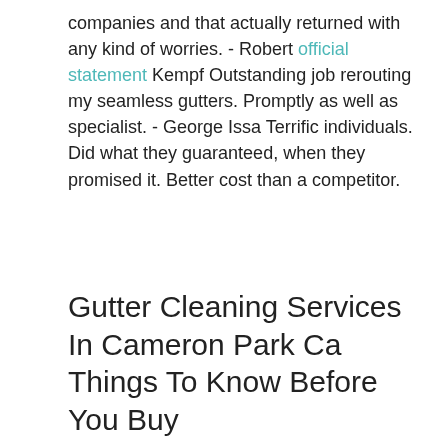companies and that actually returned with any kind of worries. - Robert official statement Kempf Outstanding job rerouting my seamless gutters. Promptly as well as specialist. - George Issa Terrific individuals. Did what they guaranteed, when they promised it. Better cost than a competitor.
Gutter Cleaning Services In Cameron Park Ca Things To Know Before You Buy